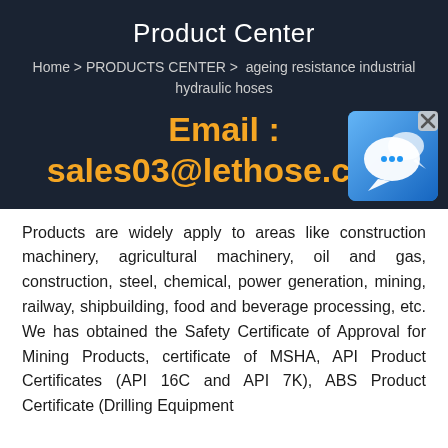Product Center
Home > PRODUCTS CENTER >  ageing resistance industrial hydraulic hoses
Email : sales03@lethose.com
[Figure (illustration): Chat/messaging app icon with speech bubbles on blue gradient background with X close button]
Products are widely apply to areas like construction machinery, agricultural machinery, oil and gas, construction, steel, chemical, power generation, mining, railway, shipbuilding, food and beverage processing, etc. We has obtained the Safety Certificate of Approval for Mining Products, certificate of MSHA, API Product Certificates (API 16C and API 7K), ABS Product Certificate (Drilling Equipment and the continuous text below)